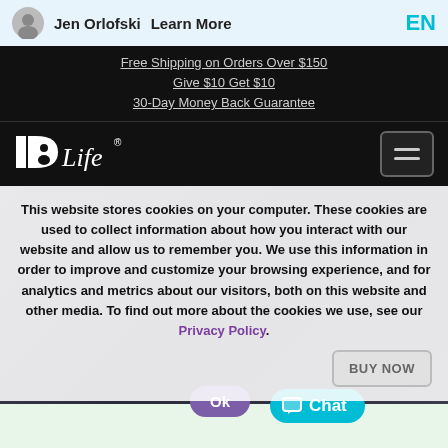Jen Orlofski   Learn More   EN
Free Shipping on Orders Over $150
Give $10 Get $10
30-Day Money Back Guarantee
[Figure (logo): IDLife logo in white on black background, with hamburger menu icon]
This website stores cookies on your computer. These cookies are used to collect information about how you interact with our website and allow us to remember you. We use this information in order to improve and customize your browsing experience, and for analytics and metrics about our visitors, both on this website and other media. To find out more about the cookies we use, see our Privacy Policy.
BUY NOW
Ok
Chat